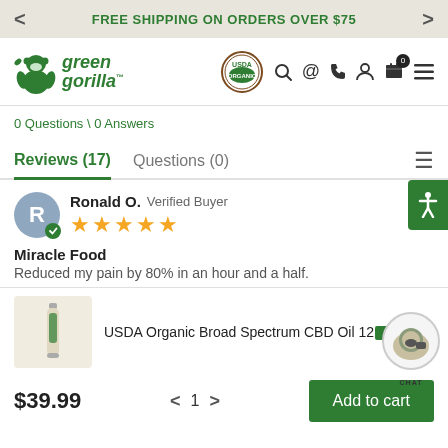FREE SHIPPING ON ORDERS OVER $75
[Figure (logo): Green Gorilla brand logo with gorilla icon and USDA Organic badge, navigation icons]
0 Questions \ 0 Answers
Reviews (17)    Questions (0)
Ronald O.  Verified Buyer — 5 stars
Miracle Food
Reduced my pain by 80% in an hour and a half.
[Figure (photo): Product image of USDA Organic Broad Spectrum CBD Oil]
USDA Organic Broad Spectrum CBD Oil 1?mg
$39.99  1  Add to cart